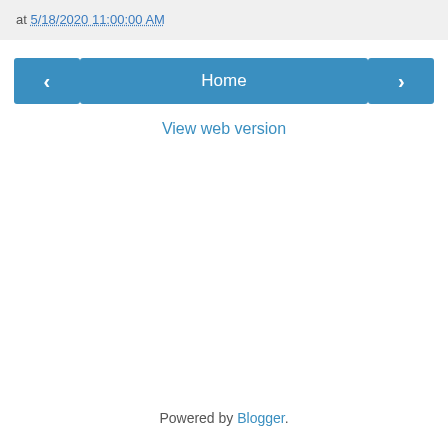at 5/18/2020 11:00:00 AM
‹
Home
›
View web version
Powered by Blogger.